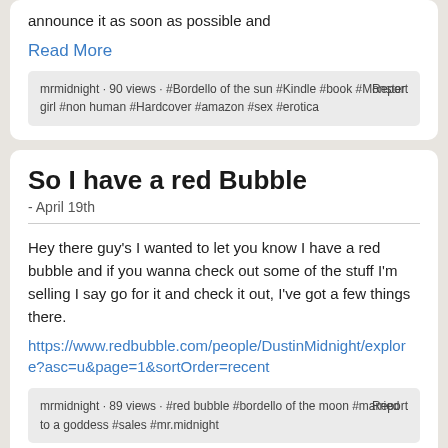announce it as soon as possible and
Read More
mrmidnight · 90 views · #Bordello of the sun #Kindle #book #Monster girl #non human #Hardcover #amazon #sex #erotica   Report
So I have a red Bubble
- April 19th
Hey there guy's I wanted to let you know I have a red bubble and if you wanna check out some of the stuff I'm selling I say go for it and check it out, I've got a few things there.
https://www.redbubble.com/people/DustinMidnight/explore?asc=u&page=1&sortOrder=recent
mrmidnight · 89 views · #red bubble #bordello of the moon #married to a goddess #sales #mr.midnight   Report